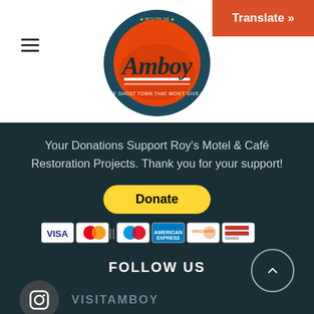[Figure (logo): Amboy Route 66 circular logo with orange, red and dark blue colors, showing script text 'Amboy' and 'The Ghost Town That Won't Give Up']
[Figure (other): Orange/red Translate button in top right corner with white bold text 'Translate »']
Your Donations Support Roy's Motel & Café Restoration Projects. Thank you for your support!
[Figure (other): Yellow PayPal Donate button with black bold text 'Donate' and payment card icons (Visa, Mastercard, Maestro, Amex, Discover, and others) below]
FOLLOW US
[Figure (other): Instagram circular dark gray icon]
VISITAMBOY